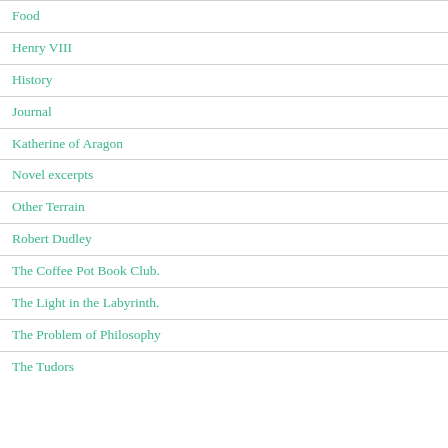Food
Henry VIII
History
Journal
Katherine of Aragon
Novel excerpts
Other Terrain
Robert Dudley
The Coffee Pot Book Club.
The Light in the Labyrinth.
The Problem of Philosophy
The Tudors